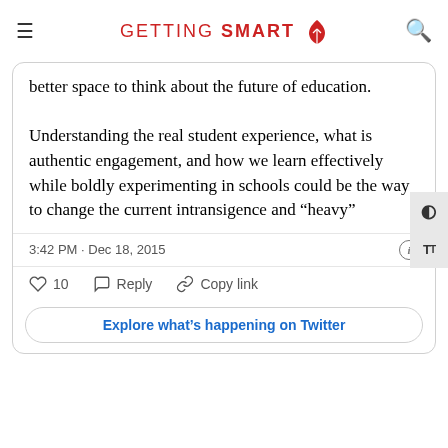GETTING SMART
better space to think about the future of education.

Understanding the real student experience, what is authentic engagement, and how we learn effectively while boldly experimenting in schools could be the way to change the current intransigence and "heavy"
3:42 PM · Dec 18, 2015
10  Reply  Copy link
Explore what's happening on Twitter